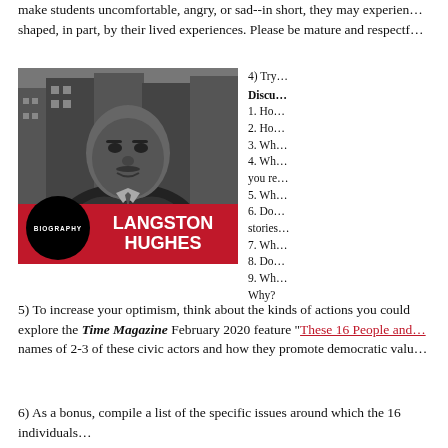make students uncomfortable, angry, or sad--in short, they may experience emotions shaped, in part, by their lived experiences. Please be mature and respectf...
[Figure (photo): Biography image of Langston Hughes - black and white portrait photo with red banner overlay showing 'BIOGRAPHY' in a black circle and 'LANGSTON HUGHES' in white text on red background]
4) Try...
Discussion Questions:
1. Ho...
2. Ho...
3. Wh...
4. Wh... you re...
5. Wh...
6. Do... stories...
7. Wh...
8. Do...
9. Wh... Why?
5) To increase your optimism, think about the kinds of actions you could explore the Time Magazine February 2020 feature "These 16 People and... names of 2-3 of these civic actors and how they promote democratic valu...
6) As a bonus, compile a list of the specific issues around which the 16 individuals...